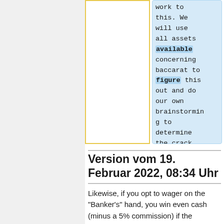work to this. We will use all assets available concerning baccarat to figure this out and do our own brainstorming to determine the crack.
Version vom 19. Februar 2022, 08:34 Uhr
Likewise, if you opt to wager on the "Banker's" hand, you win even cash (minus a 5% commission) if the banker's